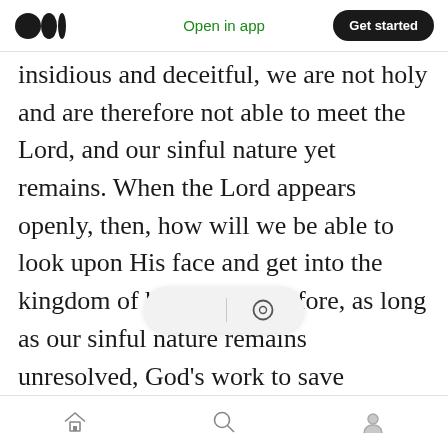Open in app | Get started
insidious and deceitful, we are not holy and are therefore not able to meet the Lord, and our sinful nature yet remains. When the Lord appears openly, then, how will we be able to look upon His face and get into the kingdom of heaven? Therefore, as long as our sinful nature remains unresolved, God’s work to save mankind is not yet over. That is why the second coming of Jesus must perform another stage of work, that of judgment and purification. Only by accepting God’s work of the last days and accepting God’s judgment and cha… we be able to rid ourselves of our satanic nature, cast off the
Home | Search | Profile